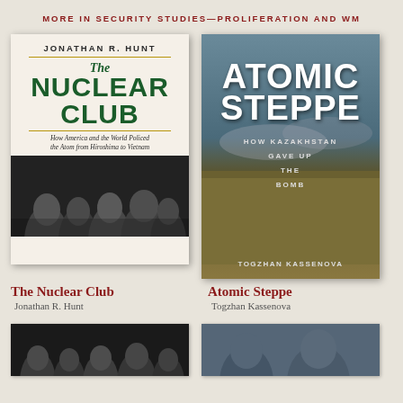MORE IN SECURITY STUDIES—PROLIFERATION AND WM
[Figure (illustration): Book cover: The Nuclear Club by Jonathan R. Hunt. White cover with green title text, subtitle 'How America and the World Policed the Atom from Hiroshima to Vietnam', black and white photo of men in suits at bottom.]
[Figure (illustration): Book cover: Atomic Steppe by Togzhan Kassenova. Dark blue-grey and tan cover with large white bold title text and subtitle 'How Kazakhstan Gave Up the Bomb'.]
The Nuclear Club
Jonathan R. Hunt
Atomic Steppe
Togzhan Kassenova
[Figure (photo): Partial thumbnail of book cover showing men in dark setting]
[Figure (photo): Partial thumbnail of book cover showing figures]